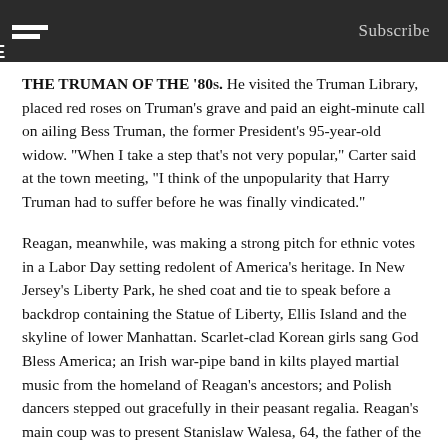Subscribe
THE TRUMAN OF THE '80s. He visited the Truman Library, placed red roses on Truman's grave and paid an eight-minute call on ailing Bess Truman, the former President's 95-year-old widow. "When I take a step that's not very popular," Carter said at the town meeting, "I think of the unpopularity that Harry Truman had to suffer before he was finally vindicated."
Reagan, meanwhile, was making a strong pitch for ethnic votes in a Labor Day setting redolent of America's heritage. In New Jersey's Liberty Park, he shed coat and tie to speak before a backdrop containing the Statue of Liberty, Ellis Island and the skyline of lower Manhattan. Scarlet-clad Korean girls sang God Bless America; an Irish war-pipe band in kilts played martial music from the homeland of Reagan's ancestors; and Polish dancers stepped out gracefully in their peasant regalia. Reagan's main coup was to present Stanislaw Walesa, 64, the father of the leader of the workers' protest in Poland, to the cheering crowd. Walesa, who lives in Jersey City, is not a U.S. citizen and has no political preferences. No matter. He helped Reagan by joining in a chorus of God Bless America.